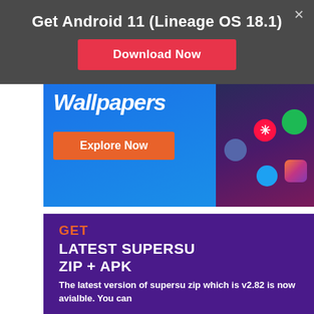[Figure (screenshot): Popup banner with dark grey background showing 'Get Android 11 (Lineage OS 18.1)' title and a red 'Download Now' button with an X close button]
[Figure (screenshot): Wallpaper advertisement image with blue-to-purple gradient background showing 'Wallpapers' text in white italic, an orange 'Explore Now' button, and phone app icons including Spotify, a star icon, and social media icons]
[Figure (screenshot): Purple promotional banner for SuperSU with orange 'GET' text, white bold 'LATEST SUPERSU ZIP + APK' heading, and white body text: 'The latest version of supersu zip which is v2.82 is now avialble. You can']